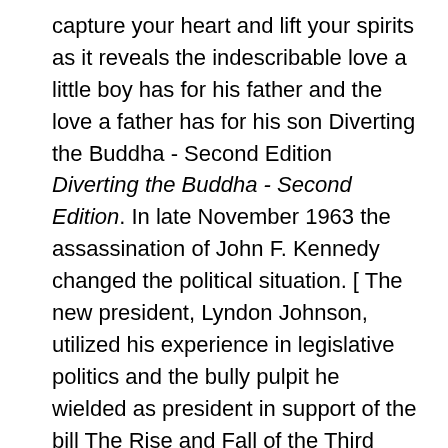capture your heart and lift your spirits as it reveals the indescribable love a little boy has for his father and the love a father has for his son Diverting the Buddha - Second Edition Diverting the Buddha - Second Edition. In late November 1963 the assassination of John F. Kennedy changed the political situation. [ The new president, Lyndon Johnson, utilized his experience in legislative politics and the bully pulpit he wielded as president in support of the bill The Rise and Fall of the Third Reich online. S. and alternate British versions of the film; theatrical trailer, still gallery. 78 min Nathan the Wise: A Dramatic download here Nathan the Wise: A Dramatic Poem. Color film would be used more in the 30's, and animation would make it's debut in this era. The star system would be common place, and the slapstick comedy was very mainstream. The names consisted of Gable, Capra, Ford, Hayes and the only two people to really survive the change to talkies, Laurel and Hardy online. Revolution sweeps the Earth, including the Soviet Union. But there remains doubt about the messages